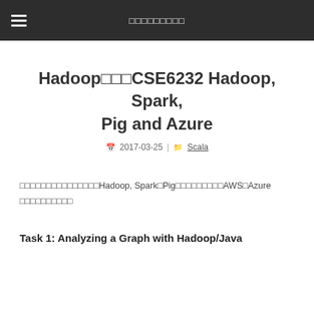□□□□□□□□□
Hadoop□□□CSE6232 Hadoop, Spark, Pig and Azure
2017-03-25 | Scala
□□□□□□□□□□□□□□□Hadoop, Spark□Pig□□□□□□□□□AWS□Azure □□□□□□□□□□
Task 1: Analyzing a Graph with Hadoop/Java